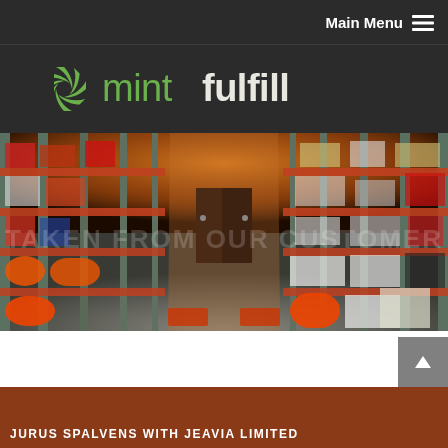Main Menu ≡
[Figure (logo): Mint Fulfill logo with green pinwheel icon and text 'mint fulfill' on dark background]
[Figure (photo): Warehouse interior with orange metal shelving racks extending into the distance toward a dark wooden door, with various products on shelves]
JURUS SPALVENS WITH JEAVIA LIMITED